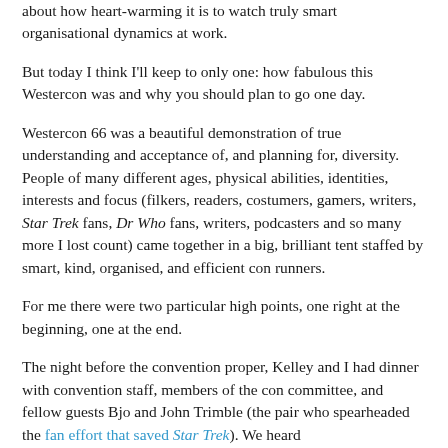about how heart-warming it is to watch truly smart organisational dynamics at work.
But today I think I'll keep to only one: how fabulous this Westercon was and why you should plan to go one day.
Westercon 66 was a beautiful demonstration of true understanding and acceptance of, and planning for, diversity. People of many different ages, physical abilities, identities, interests and focus (filkers, readers, costumers, gamers, writers, Star Trek fans, Dr Who fans, writers, podcasters and so many more I lost count) came together in a big, brilliant tent staffed by smart, kind, organised, and efficient con runners.
For me there were two particular high points, one right at the beginning, one at the end.
The night before the convention proper, Kelley and I had dinner with convention staff, members of the con committee, and fellow guests Bjo and John Trimble (the pair who spearheaded the fan effort that saved Star Trek). We heard